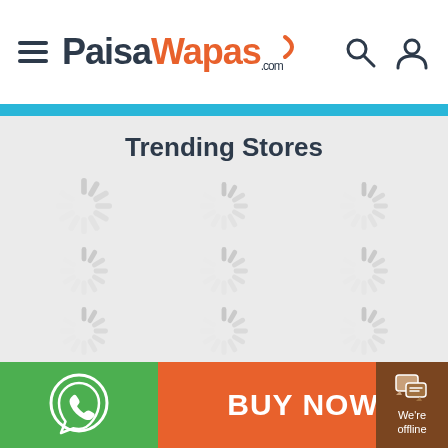PaisaWapas.com - Trending Stores
Trending Stores
[Figure (screenshot): Grid of 15 loading spinner icons arranged in 5 rows and 3 columns on a light gray background, indicating content is loading]
[Figure (logo): WhatsApp button green section with WhatsApp icon on left]
[Figure (other): BUY NOW orange button in center of bottom bar]
[Figure (other): We're offline chat widget in brown on bottom right]